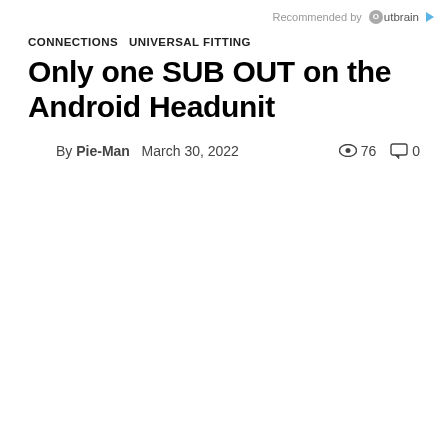Recommended by Outbrain
CONNECTIONS  UNIVERSAL FITTING
Only one SUB OUT on the Android Headunit
By Pie-Man  March 30, 2022  76 views  0 comments